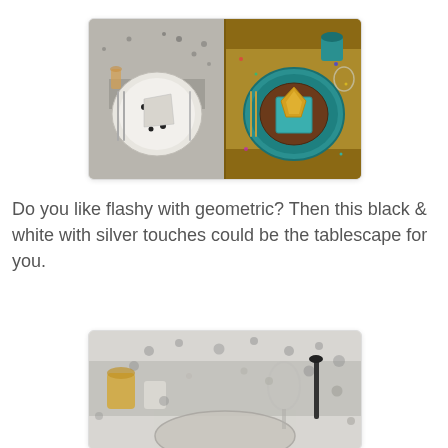[Figure (photo): Two side-by-side table setting photos: left shows a black and white geometric plate with silver accents, right shows a teal and gold tablescape with a decorative placemat.]
Do you like flashy with geometric? Then this black & white with silver touches could be the tablescape for you.
[Figure (photo): Close-up photo of a black and white geometric tablescape with silver dot decorations, candles in glass holders, and elegant stemware.]